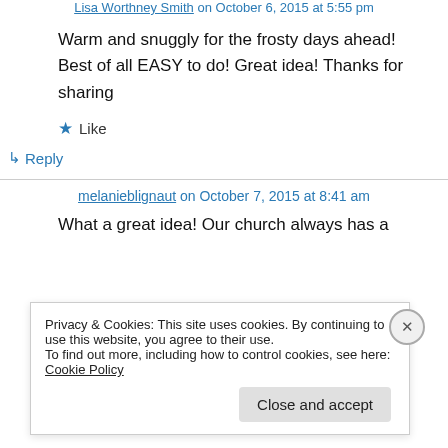Lisa Worthney Smith on October 6, 2015 at 5:55 pm
Warm and snuggly for the frosty days ahead! Best of all EASY to do! Great idea! Thanks for sharing
★ Like
↳ Reply
melanieblignaut on October 7, 2015 at 8:41 am
What a great idea! Our church always has a
Privacy & Cookies: This site uses cookies. By continuing to use this website, you agree to their use.
To find out more, including how to control cookies, see here: Cookie Policy
Close and accept